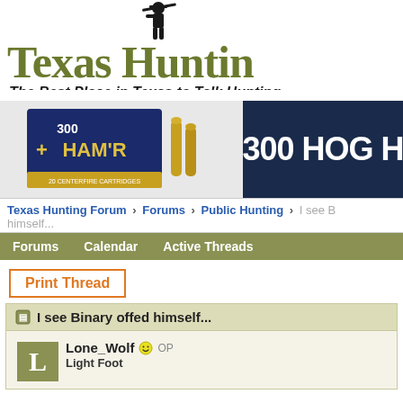[Figure (logo): Texas Hunting Forum logo with hunter silhouette and text 'Texas Huntin...' and tagline 'The Best Place in Texas to Talk Hunting']
[Figure (photo): Advertisement banner showing 300 HAM'R ammunition box on left side and dark blue background with text '300 HOG H...' on right side]
Texas Hunting Forum > Forums > Public Hunting > I see Binary offed himself...
Forums  Calendar  Active Threads
Print Thread
I see Binary offed himself...
Lone_Wolf OP
Light Foot